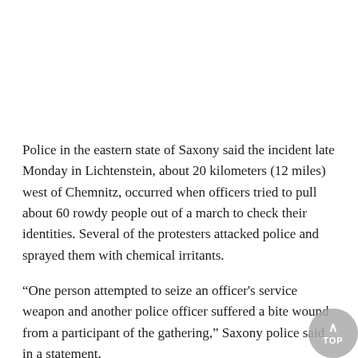Police in the eastern state of Saxony said the incident late Monday in Lichtenstein, about 20 kilometers (12 miles) west of Chemnitz, occurred when officers tried to pull about 60 rowdy people out of a march to check their identities. Several of the protesters attacked police and sprayed them with chemical irritants.
“One person attempted to seize an officer's service weapon and another police officer suffered a bite wound from a participant of the gathering,” Saxony police said in a statement.
In Bautzen, further east, some participants of a 600-strong march attempted to break through a police cordon. Officers responded with pepper spray and batons.